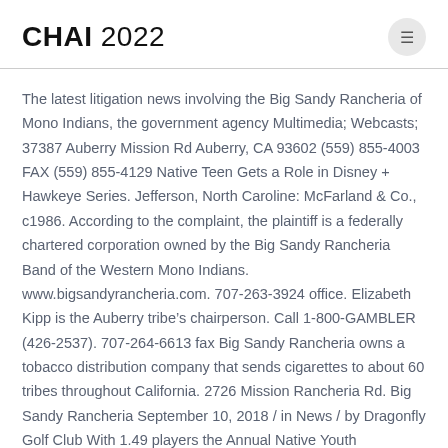CHAI 2022
The latest litigation news involving the Big Sandy Rancheria of Mono Indians, the government agency Multimedia; Webcasts; 37387 Auberry Mission Rd Auberry, CA 93602 (559) 855-4003 FAX (559) 855-4129 Native Teen Gets a Role in Disney + Hawkeye Series. Jefferson, North Caroline: McFarland & Co., c1986. According to the complaint, the plaintiff is a federally chartered corporation owned by the Big Sandy Rancheria Band of the Western Mono Indians. www.bigsandyrancheria.com. 707-263-3924 office. Elizabeth Kipp is the Auberry tribe’s chairperson. Call 1-800-GAMBLER (426-2537). 707-264-6613 fax Big Sandy Rancheria owns a tobacco distribution company that sends cigarettes to about 60 tribes throughout California. 2726 Mission Rancheria Rd. Big Sandy Rancheria September 10, 2018 / in News / by Dragonfly Golf Club With 1.49 players the Annual Native Youth